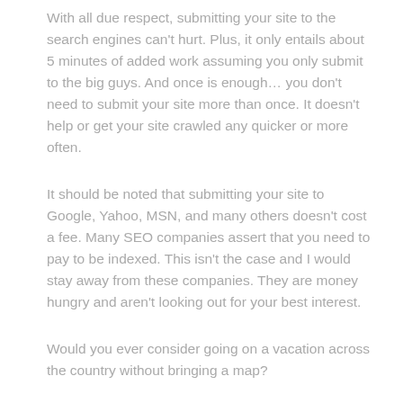With all due respect, submitting your site to the search engines can't hurt. Plus, it only entails about 5 minutes of added work assuming you only submit to the big guys. And once is enough… you don't need to submit your site more than once. It doesn't help or get your site crawled any quicker or more often.
It should be noted that submitting your site to Google, Yahoo, MSN, and many others doesn't cost a fee. Many SEO companies assert that you need to pay to be indexed. This isn't the case and I would stay away from these companies. They are money hungry and aren't looking out for your best interest.
Would you ever consider going on a vacation across the country without bringing a map?